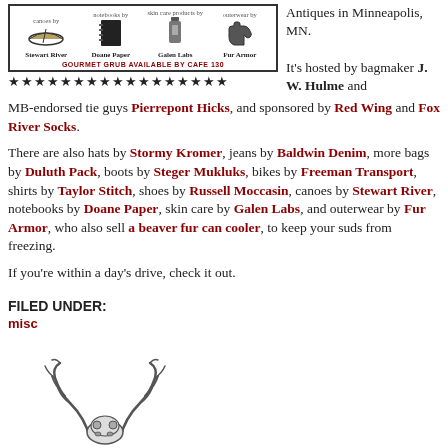[Figure (illustration): Banner box with product icons (canoe, notebook, skin care bottle, mitten/glove) labeled by brand: Stewart River, Doane Paper, Galen Labs, Fur Armor, with stars row and footer text GOURMET GRUB AVAILABLE BY CAFE 130]
Antiques in Minneapolis, MN.
It's hosted by bagmaker J. W. Hulme and MB-endorsed tie guys Pierrepont Hicks, and sponsored by Red Wing and Fox River Socks.
There are also hats by Stormy Kromer, jeans by Baldwin Denim, more bags by Duluth Pack, boots by Steger Mukluks, bikes by Freeman Transport, shirts by Taylor Stitch, shoes by Russell Moccasin, canoes by Stewart River, notebooks by Doane Paper, skin care by Galen Labs, and outerwear by Fur Armor, who also sell a beaver fur can cooler, to keep your suds from freezing.
If you're within a day's drive, check it out.
FILED UNDER:
misc
[Figure (illustration): Deer skull with antlers illustration at bottom of page]